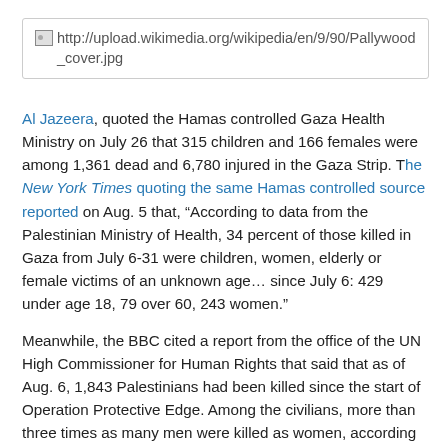[Figure (other): Broken image placeholder showing URL: http://upload.wikimedia.org/wikipedia/en/9/90/Pallywood_cover.jpg]
Al Jazeera, quoted the Hamas controlled Gaza Health Ministry on July 26 that 315 children and 166 females were among 1,361 dead and 6,780 injured in the Gaza Strip. The New York Times quoting the same Hamas controlled source reported on Aug. 5 that, “According to data from the Palestinian Ministry of Health, 34 percent of those killed in Gaza from July 6-31 were children, women, elderly or female victims of an unknown age… since July 6: 429 under age 18, 79 over 60, 243 women.”
Meanwhile, the BBC cited a report from the office of the UN High Commissioner for Human Rights that said that as of Aug. 6, 1,843 Palestinians had been killed since the start of Operation Protective Edge. Among the civilians, more than three times as many men were killed as women, according to the UN report.